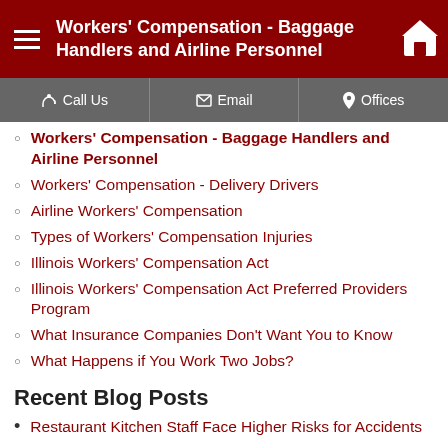Workers' Compensation - Baggage Handlers and Airline Personnel
Workers' Compensation - Baggage Handlers and Airline Personnel
Workers' Compensation - Delivery Drivers
Airline Workers' Compensation
Types of Workers' Compensation Injuries
Illinois Workers' Compensation Act
Illinois Workers' Compensation Act Preferred Providers Program
What Insurance Companies Don't Want You to Know
What Happens if You Work Two Jobs?
Recent Blog Posts
Restaurant Kitchen Staff Face Higher Risks for Accidents